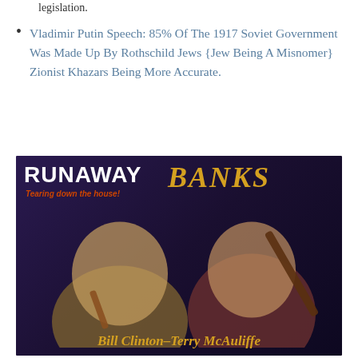legislation.
Vladimir Putin Speech: 85% Of The 1917 Soviet Government Was Made Up By Rothschild Jews {Jew Being A Misnomer} Zionist Khazars Being More Accurate.
[Figure (photo): A manipulated image styled as an album cover titled 'RUNAWAY BANKS – Tearing down the house!' featuring photoshopped faces of Bill Clinton and Terry McAuliffe on bodies playing violin and guitar, with their names at the bottom in gold text.]